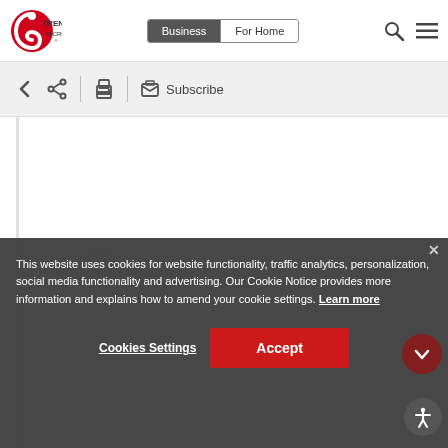[Figure (logo): Trend Micro logo — red circle with swirl and TREND MICRO text]
[Figure (screenshot): Navigation bar with Business (active) and For Home tabs, search icon, and hamburger menu]
[Figure (screenshot): Toolbar with back arrow, share icon, print icon, and Subscribe button]
This website uses cookies for website functionality, traffic analytics, personalization, social media functionality and advertising. Our Cookie Notice provides more information and explains how to amend your cookie settings. Learn more
Cookies Settings
Accept